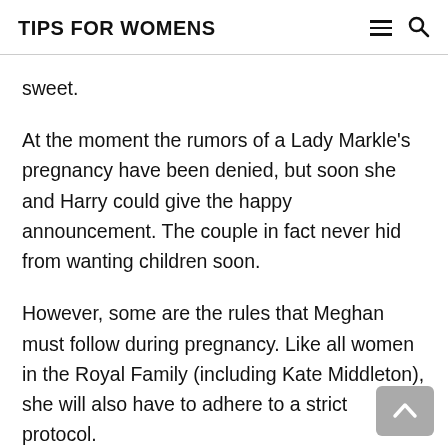TIPS FOR WOMENS
sweet.
At the moment the rumors of a Lady Markle's pregnancy have been denied, but soon she and Harry could give the happy announcement. The couple in fact never hid from wanting children soon.
However, some are the rules that Meghan must follow during pregnancy. Like all women in the Royal Family (including Kate Middleton), she will also have to adhere to a strict protocol.